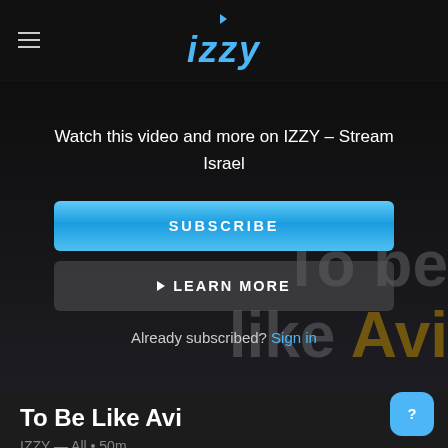IZZY
[Figure (screenshot): Streaming service IZZY subscription paywall overlay on a video, showing SUBSCRIBE and LEARN MORE buttons]
Watch this video and more on IZZY – Stream Israel
SUBSCRIBE
▶ LEARN MORE
Already subscribed? Sign in
To Be Like Avi
IZZY — All • 50m